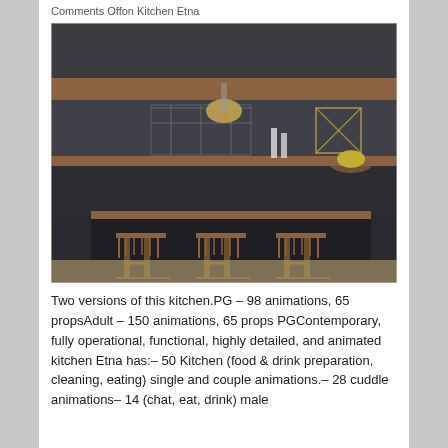Comments Offon Kitchen Etna
[Figure (photo): 3D rendered image of a modern dark kitchen with bar stools, wooden counter, pendant light, and kitchen accessories displayed from a front view.]
Two versions of this kitchen.PG – 98 animations, 65 propsAdult – 150 animations, 65 props PGContemporary, fully operational, functional, highly detailed, and animated kitchen Etna has:– 50 Kitchen (food & drink preparation, cleaning, eating) single and couple animations.– 28 cuddle animations– 14 (chat, eat, drink) male